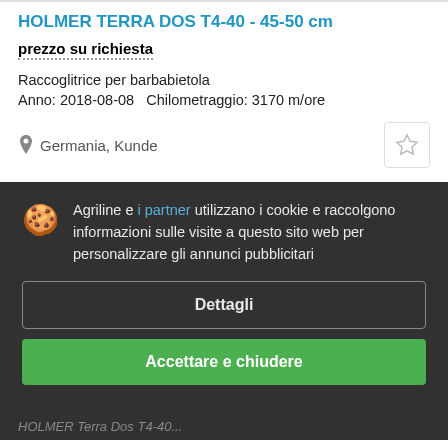HOLMER TERRA DOS T4-40 - 45-50 cm
prezzo su richiesta
Raccoglitrice per barbabietola
Anno: 2018-08-08   Chilometraggio: 3170 m/ore
Germania, Kunde
Agriline e i partner utilizzano i cookie e raccolgono informazioni sulle visite a questo sito web per personalizzare gli annunci pubblicitari
Dettagli
Accettare e chiudere
HOLMER Terra Dos T4-40...